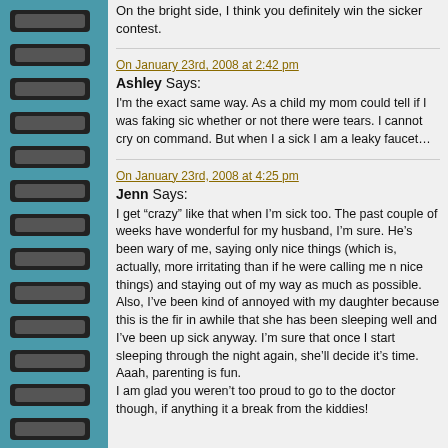On the bright side, I think you definitely win the sicker contest.
On January 23rd, 2008 at 2:42 pm
Ashley Says:
I'm the exact same way. As a child my mom could tell if I was faking sick whether or not there were tears. I cannot cry on command. But when I am sick I am a leaky faucet…
On January 23rd, 2008 at 4:25 pm
Jenn Says:
I get "crazy" like that when I'm sick too. The past couple of weeks have wonderful for my husband, I'm sure. He's been wary of me, saying only nice things (which is, actually, more irritating than if he were calling me nice things) and staying out of my way as much as possible. Also, I've been kind of annoyed with my daughter because this is the first in awhile that she has been sleeping well and I've been up sick anyway. I'm sure that once I start sleeping through the night again, she'll decide it's time. Aaah, parenting is fun. I am glad you weren't too proud to go to the doctor though, if anything it a break from the kiddies!